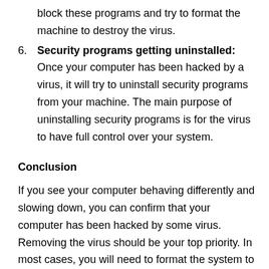block these programs and try to format the machine to destroy the virus.
Security programs getting uninstalled: Once your computer has been hacked by a virus, it will try to uninstall security programs from your machine. The main purpose of uninstalling security programs is for the virus to have full control over your system.
Conclusion
If you see your computer behaving differently and slowing down, you can confirm that your computer has been hacked by some virus. Removing the virus should be your top priority. In most cases, you will need to format the system to remove the virus.